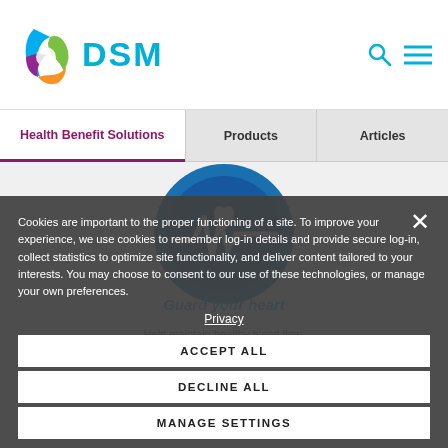[Figure (logo): DSM company logo with colorful swirl icon and blue DSM text]
DSM
Health Benefit Solutions | Products | Articles
[Figure (illustration): Blue circle with white heart monitor icon - Guard your heart]
Guard your heart
Help maintain healthy blood flow, cholesterol and blood pressure.
Cookies are important to the proper functioning of a site. To improve your experience, we use cookies to remember log-in details and provide secure log-in, collect statistics to optimize site functionality, and deliver content tailored to your interests. You may choose to consent to our use of these technologies, or manage your own preferences.
Privacy
ACCEPT ALL
DECLINE ALL
MANAGE SETTINGS